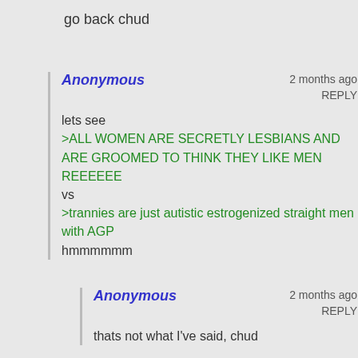go back chud
Anonymous   2 months ago
REPLY

lets see
>ALL WOMEN ARE SECRETLY LESBIANS AND ARE GROOMED TO THINK THEY LIKE MEN REEEEEE
vs
>trannies are just autistic estrogenized straight men with AGP
hmmmmmm
Anonymous   2 months ago
REPLY

thats not what I've said, chud